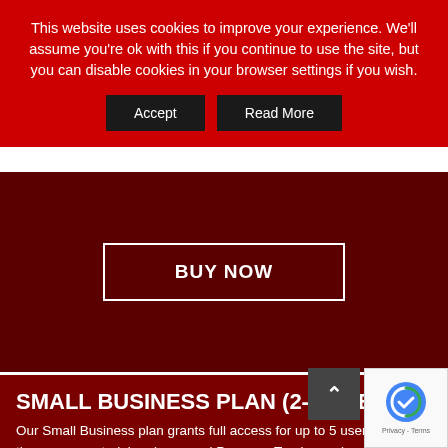This website uses cookies to improve your experience. We'll assume you're ok with this if you continue to use the site, but you can disable cookies in your browser settings if you wish.
Accept | Read More
BUY NOW
SMALL BUSINESS PLAN (2-5 USERS)
Our Small Business plan grants full access for up to 5 users, to all of the course material and personal Progress Trackers, along with instant access to any additional training content instantly upon release.
In addition, specified users can be granted access a...